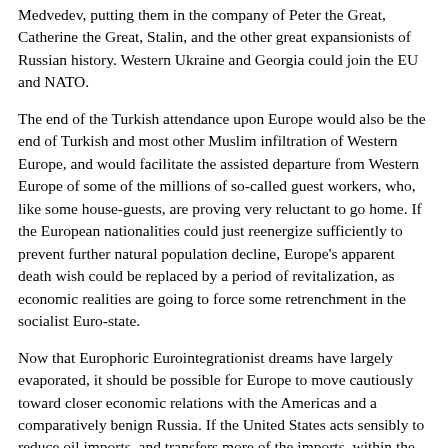Medvedev, putting them in the company of Peter the Great, Catherine the Great, Stalin, and the other great expansionists of Russian history. Western Ukraine and Georgia could join the EU and NATO.
The end of the Turkish attendance upon Europe would also be the end of Turkish and most other Muslim infiltration of Western Europe, and would facilitate the assisted departure from Western Europe of some of the millions of so-called guest workers, who, like some house-guests, are proving very reluctant to go home. If the European nationalities could just reenergize sufficiently to prevent further natural population decline, Europe's apparent death wish could be replaced by a period of revitalization, as economic realities are going to force some retrenchment in the socialist Euro-state.
Now that Europhoric Eurointegrationist dreams have largely evaporated, it should be possible for Europe to move cautiously toward closer economic relations with the Americas and a comparatively benign Russia. If the United States acts sensibly to reduce oil imports, and transfers more of the imports, within the framework of a larger agreement, to Russia, it should have the leverage to persuade the Saudis to do less to promote Islamic radicalism in their control of almost all Islamic institutions in the world.